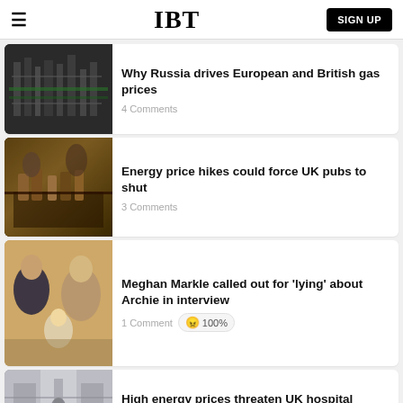IBT | SIGN UP
[Figure (photo): Industrial gas pipes and infrastructure]
Why Russia drives European and British gas prices
4 Comments
[Figure (photo): People at a UK pub bar]
Energy price hikes could force UK pubs to shut
3 Comments
[Figure (photo): Meghan Markle and Prince Harry with baby Archie]
Meghan Markle called out for 'lying' about Archie in interview
1 Comment 😠 100%
[Figure (photo): Hospital corridor interior]
High energy prices threaten UK hospital services